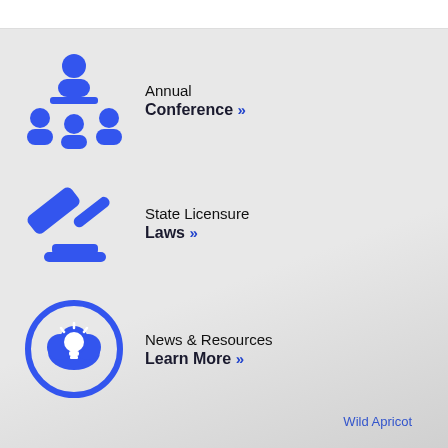[Figure (infographic): Blue icon of three people in a conference/presentation setting]
Annual Conference »
[Figure (infographic): Blue gavel/judge's hammer icon with base]
State Licensure Laws »
[Figure (infographic): Blue circle icon with cloud and light bulb inside]
News & Resources Learn More »
Wild Apricot